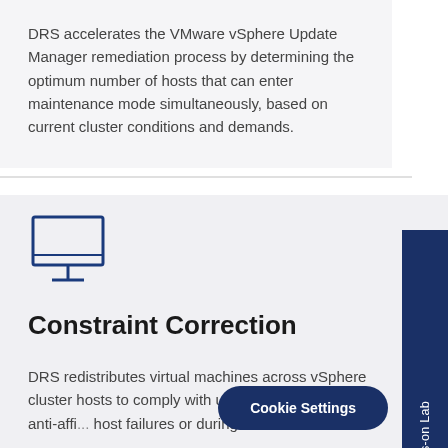DRS accelerates the VMware vSphere Update Manager remediation process by determining the optimum number of hosts that can enter maintenance mode simultaneously, based on current cluster conditions and demands.
[Figure (illustration): Monitor/computer screen icon rendered in blue outline style]
Constraint Correction
DRS redistributes virtual machines across vSphere cluster hosts to comply with user-defined affinity and anti-affinity rules following host failures or during maintenance.
vSphere Hands-on Lab
Cookie Settings